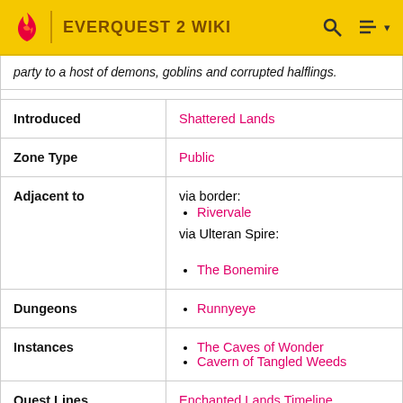EVERQUEST 2 WIKI
party to a host of demons, goblins and corrupted halflings.
| Field | Value |
| --- | --- |
| Introduced | Shattered Lands |
| Zone Type | Public |
| Adjacent to | via border:
• Rivervale
via Ulteran Spire:
• The Bonemire |
| Dungeons | • Runnyeye |
| Instances | • The Caves of Wonder
• Cavern of Tangled Weeds |
| Quest Lines | Enchanted Lands Timeline |
| Heroic | Tier 4... |